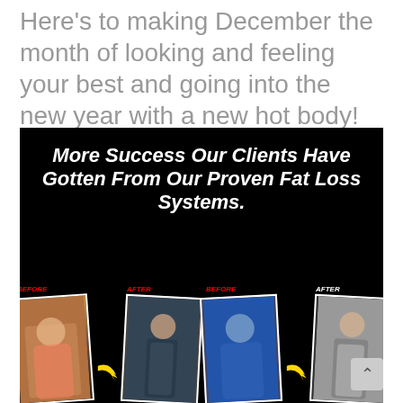Here's to making December the month of looking and feeling your best and going into the new year with a new hot body!
[Figure (photo): Promotional fitness image on black background with bold italic white text reading 'More Success Our Clients Have Gotten From Our Proven Fat Loss Systems.' Below the text are four before/after photos of fitness clients arranged in two pairs, each pair showing a before and after transformation photo with yellow curved arrows pointing from before to after. Labels 'BEFORE' and 'AFTER' in red/white text appear above each photo.]